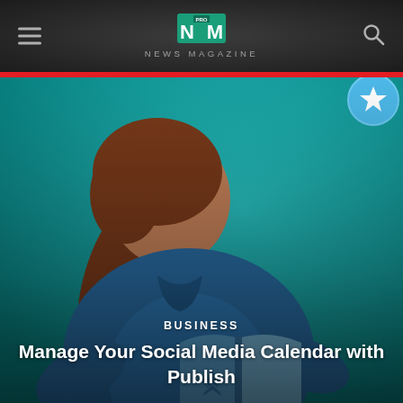NEWS MAGAZINE
[Figure (illustration): Illustration of a woman with brown ponytail wearing a blue jacket, reading an open book with a star on the cover, against a teal/turquoise background. A circular badge with a star appears in the upper right corner.]
BUSINESS
Manage Your Social Media Calendar with Publish